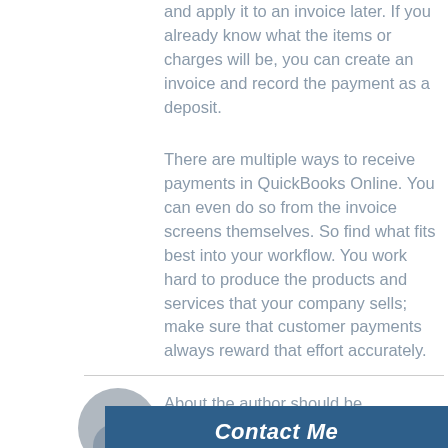and apply it to an invoice later. If you already know what the items or charges will be, you can create an invoice and record the payment as a deposit.
There are multiple ways to receive payments in QuickBooks Online. You can even do so from the invoice screens themselves. So find what fits best into your workflow. You work hard to produce the products and services that your company sells; make sure that customer payments always reward that effort accurately.
About the author should be